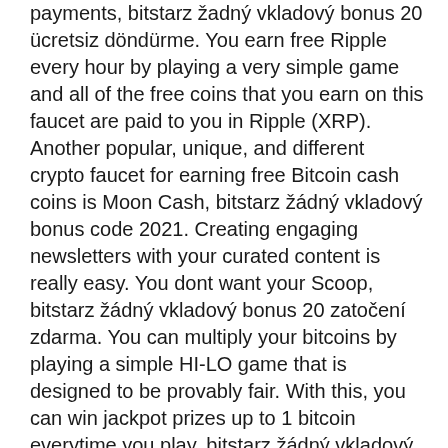payments, bitstarz žadný vkladový bonus 20 ücretsiz döndürme. You earn free Ripple every hour by playing a very simple game and all of the free coins that you earn on this faucet are paid to you in Ripple (XRP). Another popular, unique, and different crypto faucet for earning free Bitcoin cash coins is Moon Cash, bitstarz žádný vkladový bonus code 2021. Creating engaging newsletters with your curated content is really easy. You dont want your Scoop, bitstarz žádný vkladový bonus 20 zatočení zdarma. You can multiply your bitcoins by playing a simple HI-LO game that is designed to be provably fair. With this, you can win jackpot prizes up to 1 bitcoin everytime you play, bitstarz žádný vkladový bonus 20 gratissnurr. Faucet Crypto has a similar style to an RPG game, bitstarz žádný vkladový bonus codes for existing users 2021. You can use items, sell items